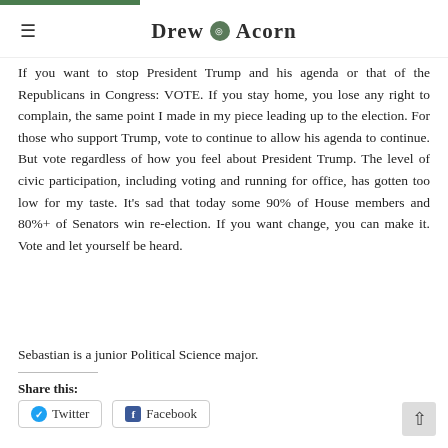Drew Acorn
If you want to stop President Trump and his agenda or that of the Republicans in Congress: VOTE. If you stay home, you lose any right to complain, the same point I made in my piece leading up to the election. For those who support Trump, vote to continue to allow his agenda to continue. But vote regardless of how you feel about President Trump. The level of civic participation, including voting and running for office, has gotten too low for my taste. It’s sad that today some 90% of House members and 80%+ of Senators win re-election. If you want change, you can make it. Vote and let yourself be heard.
Sebastian is a junior Political Science major.
Share this:
Twitter
Facebook